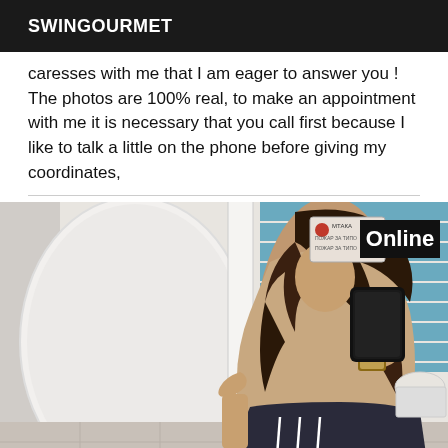SWINGOURMET
caresses with me that I am eager to answer you ! The photos are 100% real, to make an appointment with me it is necessary that you call first because I like to talk a little on the phone before giving my coordinates,
[Figure (photo): A woman taking a mirror selfie in a public bathroom, holding a black smartphone. She has long dark hair and is wearing dark pants. The bathroom has white walls and blue tiles. An 'Online' badge appears in the top right corner of the image.]